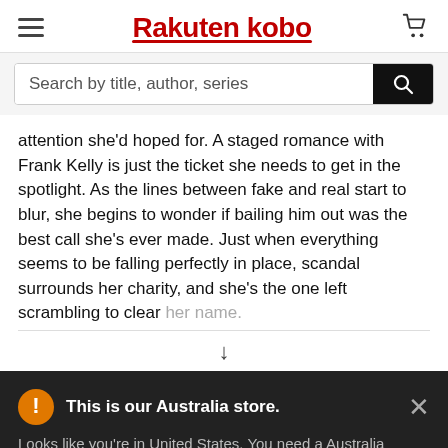Rakuten kobo
Search by title, author, series
attention she'd hoped for. A staged romance with Frank Kelly is just the ticket she needs to get in the spotlight. As the lines between fake and real start to blur, she begins to wonder if bailing him out was the best call she's ever made. Just when everything seems to be falling perfectly in place, scandal surrounds her charity, and she's the one left scrambling to clear her name.
This is our Australia store.
Looks like you're in United States. You need a Australia address to shop on our Australia store. Go to our United States store to continue.
Go to United States Store
Choose another store